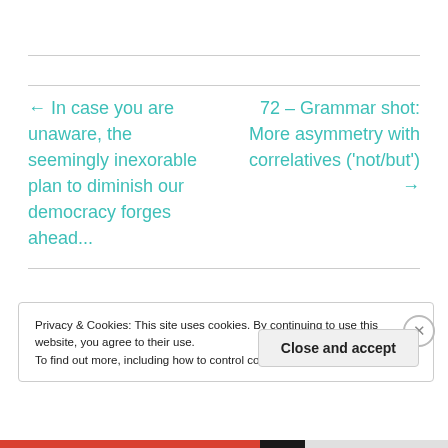← In case you are unaware, the seemingly inexorable plan to diminish our democracy forges ahead...
72 – Grammar shot: More asymmetry with correlatives ('not/but') →
Privacy & Cookies: This site uses cookies. By continuing to use this website, you agree to their use. To find out more, including how to control cookies, see here: Cookie Policy